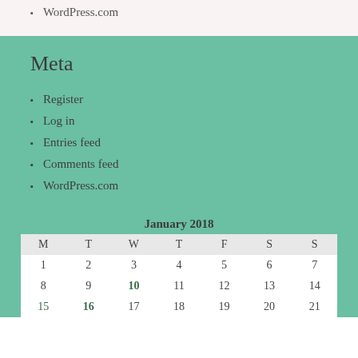WordPress.com
Meta
Register
Log in
Entries feed
Comments feed
WordPress.com
January 2018
| M | T | W | T | F | S | S |
| --- | --- | --- | --- | --- | --- | --- |
| 1 | 2 | 3 | 4 | 5 | 6 | 7 |
| 8 | 9 | 10 | 11 | 12 | 13 | 14 |
| 15 | 16 | 17 | 18 | 19 | 20 | 21 |